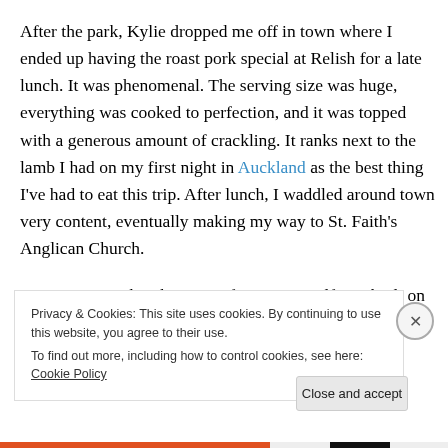After the park, Kylie dropped me off in town where I ended up having the roast pork special at Relish for a late lunch. It was phenomenal. The serving size was huge, everything was cooked to perfection, and it was topped with a generous amount of crackling. It ranks next to the lamb I had on my first night in Auckland as the best thing I've had to eat this trip. After lunch, I waddled around town very content, eventually making my way to St. Faith's Anglican Church.
I wasn't aware that the town of Rotorua itself was built on
Privacy & Cookies: This site uses cookies. By continuing to use this website, you agree to their use.
To find out more, including how to control cookies, see here: Cookie Policy
Close and accept